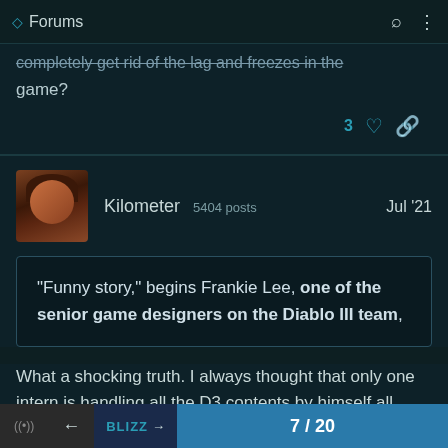Forums
completely get rid of the lag and freezes in the game?
3 ♡ 🔗
Kilometer  5404 posts   Jul '21
"Funny story," begins Frankie Lee, one of the senior game designers on the Diablo III team,
What a shocking truth. I always thought that only one intern is handling all the D3 contents by himself all these ti
7 / 20